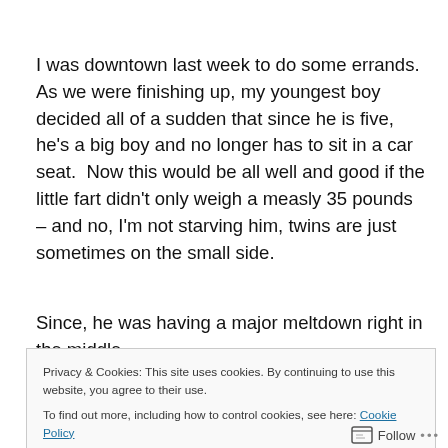I was downtown last week to do some errands.  As we were finishing up, my youngest boy decided all of a sudden that since he is five, he's a big boy and no longer has to sit in a car seat.  Now this would be all well and good if the little fart didn't only weigh a measly 35 pounds – and no, I'm not starving him, twins are just sometimes on the small side.
Since, he was having a major meltdown right in the middle
Privacy & Cookies: This site uses cookies. By continuing to use this website, you agree to their use.
To find out more, including how to control cookies, see here: Cookie Policy
Close and accept
Follow